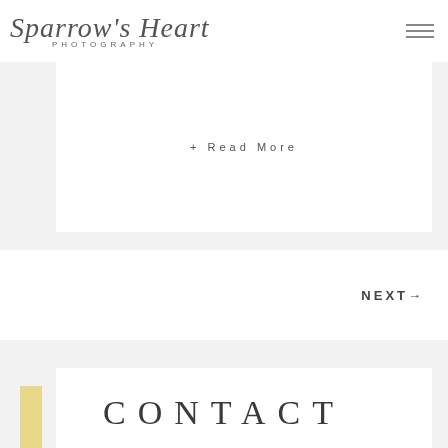Sparrow's Heart PHOTOGRAPHY
+ Read More
NEXT→
CONTACT